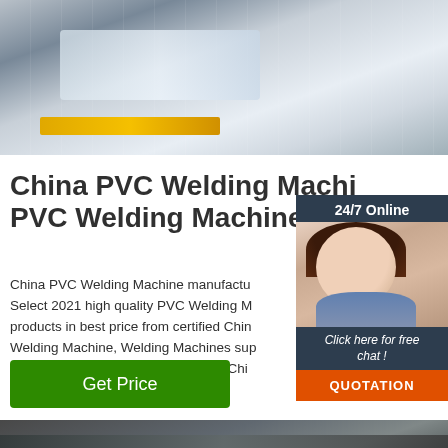[Figure (photo): Industrial PVC welding machine in a factory setting, showing white/gray machinery with yellow cable guide]
China PVC Welding Machine PVC Welding Machine ...
China PVC Welding Machine manufactu Select 2021 high quality PVC Welding M products in best price from certified Chin Welding Machine, Welding Machines sup wholesalers and factory on Made-in-Chi
[Figure (illustration): 24/7 Online chat widget showing a female customer service representative with headset, with 'Click here for free chat!' text and QUOTATION button]
[Figure (photo): Interior of a large industrial factory/warehouse building with steel roof structure and columns]